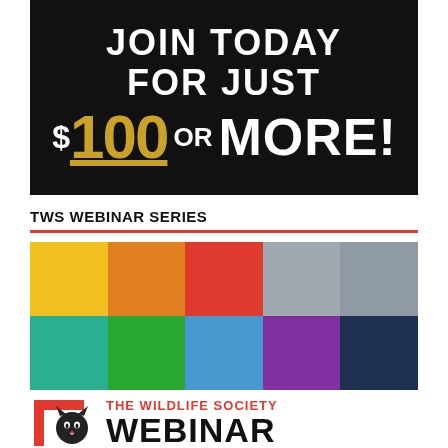[Figure (infographic): Black background promotional banner reading JOIN TODAY FOR JUST $100 OR MORE! with gold colored $100 and white text]
TWS WEBINAR SERIES
[Figure (infographic): Colorful grid of 10 squares in two rows: yellow, orange, red, gray, gray on top; teal, green, blue, purple, dark navy on bottom]
[Figure (logo): The Wildlife Society Webinar logo with red bracket frame, cat silhouette, red text THE WILDLIFE SOCIETY and large black text WEBINAR]